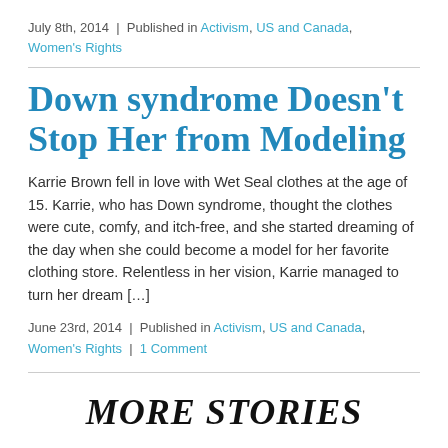July 8th, 2014  |  Published in Activism, US and Canada, Women's Rights
Down syndrome Doesn't Stop Her from Modeling
Karrie Brown fell in love with Wet Seal clothes at the age of 15. Karrie, who has Down syndrome, thought the clothes were cute, comfy, and itch-free, and she started dreaming of the day when she could become a model for her favorite clothing store. Relentless in her vision, Karrie managed to turn her dream […]
June 23rd, 2014  |  Published in Activism, US and Canada, Women's Rights  |  1 Comment
MORE STORIES